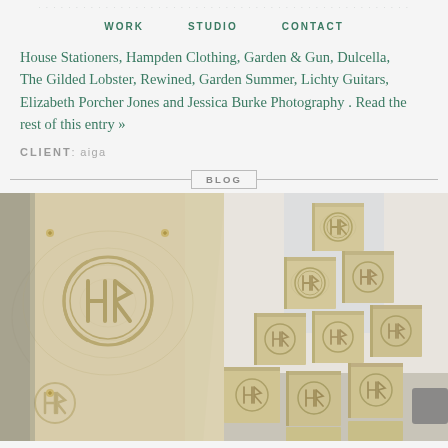WORK   STUDIO   CONTACT
House Stationers, Hampden Clothing, Garden & Gun, Dulcella, The Gilded Lobster, Rewined, Garden Summer, Lichty Guitars, Elizabeth Porcher Jones and Jessica Burke Photography . Read the rest of this entry »
CLIENT: aiga
BLOG
[Figure (photo): Close-up of wooden laser-cut boxes/panels with a circular logo mark (HR monogram) engraved on them, showing wood grain texture and brass screws]
[Figure (photo): Stacked wooden boxes/cubes with circular HR logo marks engraved, arranged in a stair-step pattern against a light wall background]